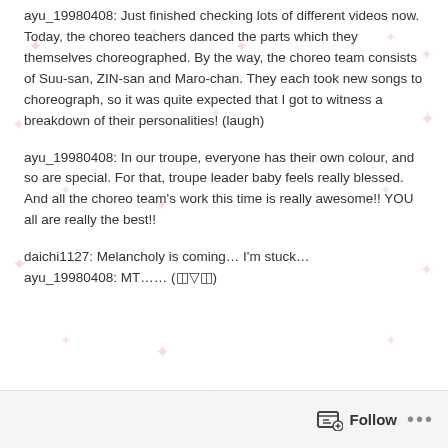ayu_19980408: Just finished checking lots of different videos now. Today, the choreo teachers danced the parts which they themselves choreographed. By the way, the choreo team consists of Suu-san, ZIN-san and Maro-chan. They each took new songs to choreograph, so it was quite expected that I got to witness a breakdown of their personalities! (laugh)
ayu_19980408: In our troupe, everyone has their own colour, and so are special. For that, troupe leader baby feels really blessed. And all the choreo team's work this time is really awesome!! YOU all are really the best!!
daichi1127: Melancholy is coming… I'm stuck…
ayu_19980408: MT…… (◫▽◫)